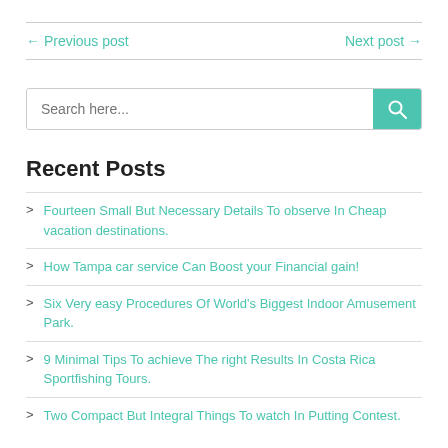← Previous post    Next post →
[Figure (other): Search bar with teal search button and magnifying glass icon]
Recent Posts
Fourteen Small But Necessary Details To observe In Cheap vacation destinations.
How Tampa car service Can Boost your Financial gain!
Six Very easy Procedures Of World's Biggest Indoor Amusement Park.
9 Minimal Tips To achieve The right Results In Costa Rica Sportfishing Tours.
Two Compact But Integral Things To watch In Putting Contest.